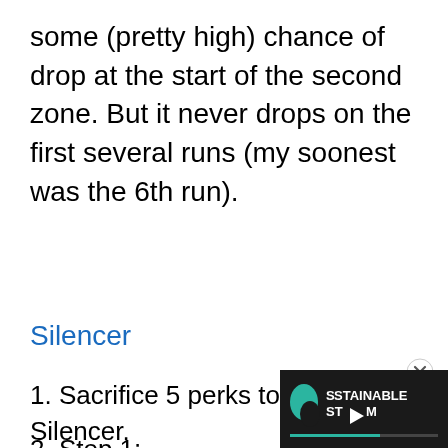some (pretty high) chance of drop at the start of the second zone. But it never drops on the first several runs (my soonest was the 6th run).
Silencer
1. Sacrifice 5 perks to get a Silencer.
2. Step 1: Boots perk a Go nuts.
[Figure (screenshot): Video player overlay showing Sustainable Steam logo with play button and progress bar on dark background]